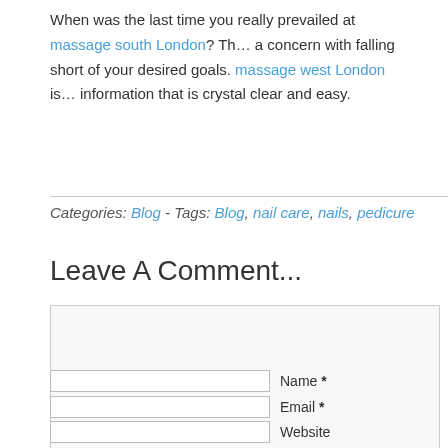When was the last time you really prevailed at massage south London? Th… a concern with falling short of your desired goals. massage west London is… information that is crystal clear and easy.
Categories: Blog - Tags: Blog, nail care, nails, pedicure
Leave A Comment...
Name * [input field]
Email * [input field]
Website [input field]